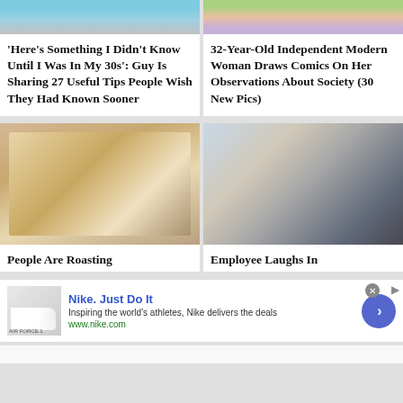[Figure (photo): Partial top image showing person in colorful shirt, left column]
[Figure (photo): Partial top image showing floral illustration and colorful artwork, right column]
'Here's Something I Didn't Know Until I Was In My 30s': Guy Is Sharing 27 Useful Tips People Wish They Had Known Sooner
32-Year-Old Independent Modern Woman Draws Comics On Her Observations About Society (30 New Pics)
[Figure (photo): Photo of a bed with white comforter and wooden chairs in a room]
[Figure (photo): Photo of a businesswoman sitting at a laptop looking frustrated or bored]
People Are Roasting
Employee Laughs In
Nike. Just Do It
Inspiring the world's athletes, Nike delivers the deals
www.nike.com